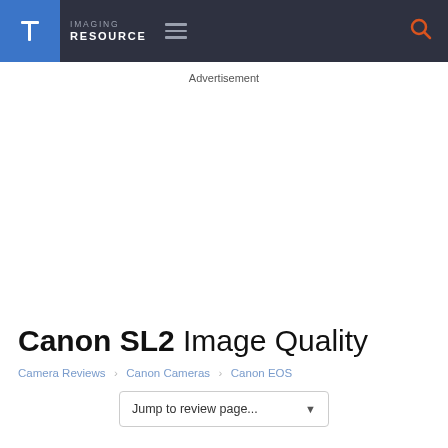IMAGING RESOURCE
Advertisement
Canon SL2 Image Quality
Camera Reviews  Canon Cameras  Canon EOS
Jump to review page...